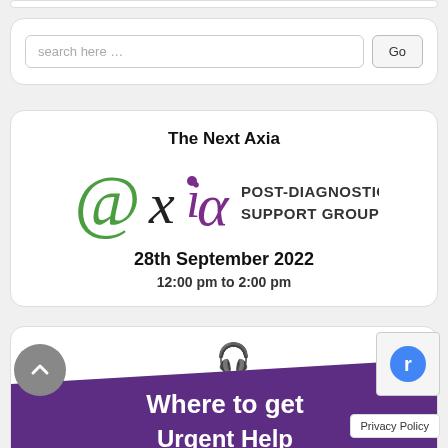[Figure (screenshot): Top partial white rounded card (search bar area top)]
search here …
Go
The Next Axia
[Figure (logo): @xia POST-DIAGNOSTIC SUPPORT GROUP logo with green @ symbol and purple xia text]
28th September 2022
12:00 pm to 2:00 pm
[Figure (infographic): Where to get Urgent Help banner with purple background, partial text visible at bottom of page]
Where to get
Privacy Policy